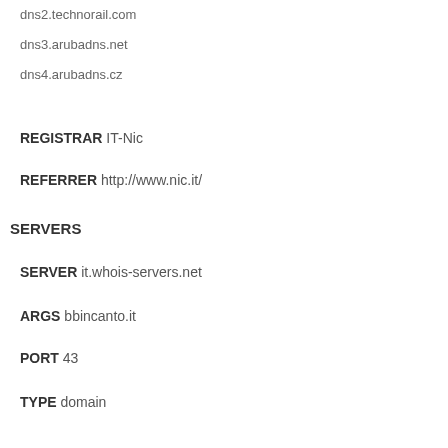dns2.technorail.com
dns3.arubadns.net
dns4.arubadns.cz
REGISTRAR IT-Nic
REFERRER http://www.nic.it/
SERVERS
SERVER it.whois-servers.net
ARGS bbincanto.it
PORT 43
TYPE domain